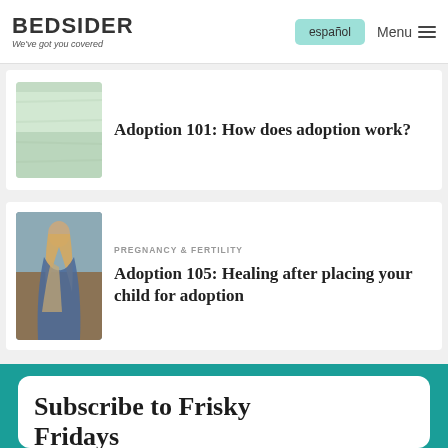BEDSIDER — We've got you covered | español | Menu
[Figure (photo): Light green fabric or textile, soft focus]
Adoption 101: How does adoption work?
[Figure (photo): Woman with long blonde hair wearing a blue and beige shawl, standing in an open field]
PREGNANCY & FERTILITY
Adoption 105: Healing after placing your child for adoption
Subscribe to Frisky Fridays